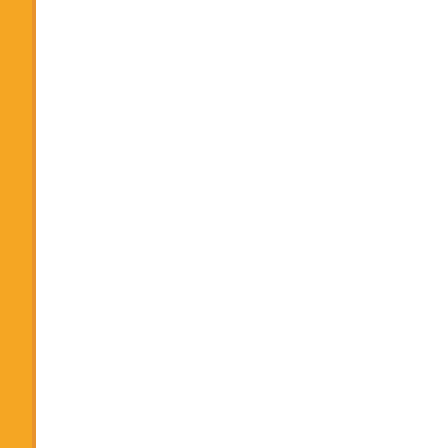| # | Date | Title |
| --- | --- | --- |
|  |  | (December-2... |
| 678. | 07/12/2016 | ADDITIONS (December-2... |
| 679. | 07/12/2016 | CHANGE: B Paper-A) Ex... |
| 680. | 01/12/2016 | CHANGE in Semester Ex... |
| 681. | 01/12/2016 | CHANGE in (December-2... |
| 682. | 19/11/2016 | CHANGE in Examination... |
| 683. | 27/10/2016 | Panjab Unive... |
| 684. | 24/10/2016 | Instructions f... |
| 685. | 06/10/2016 | Press Relea... |
| 686. | 03/10/2016 | CHANGE of Supplementa... |
| 687. | 03/10/2016 | Re-Examina & Mkt. Rese... |
| 688. | 08/09/2016 | Rates of Exa Structure |
| 689. | 10/08/2016 | Question Bo... |